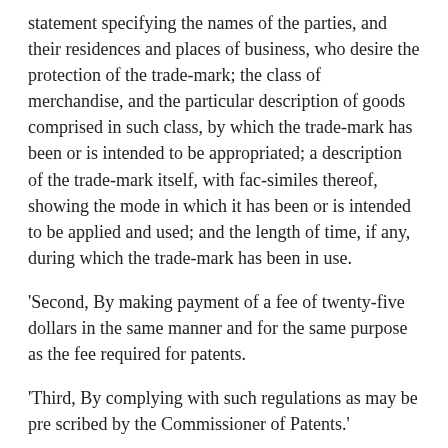statement specifying the names of the parties, and their residences and places of business, who desire the protection of the trade-mark; the class of merchandise, and the particular description of goods comprised in such class, by which the trade-mark has been or is intended to be appropriated; a description of the trade-mark itself, with fac-similes thereof, showing the mode in which it has been or is intended to be applied and used; and the length of time, if any, during which the trade-mark has been in use.
'Second, By making payment of a fee of twenty-five dollars in the same manner and for the same purpose as the fee required for patents.
'Third, By complying with such regulations as may be pre scribed by the Commissioner of Patents.'
To each indictment there was a general demurrer. The judges